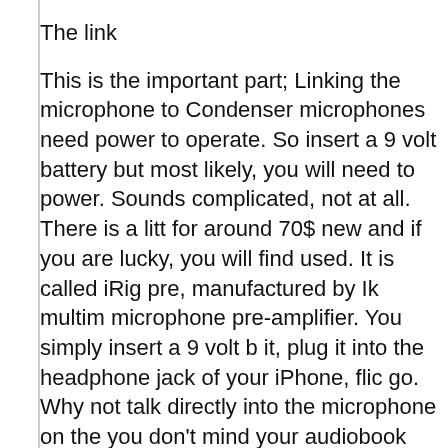The link
This is the important part; Linking the microphone to Condenser microphones need power to operate. So insert a 9 volt battery but most likely, you will need to power. Sounds complicated, not at all. There is a litt for around 70$ new and if you are lucky, you will find used. It is called iRig pre, manufactured by Ik multim microphone pre-amplifier. You simply insert a 9 volt b it, plug it into the headphone jack of your iPhone, flic go. Why not talk directly into the microphone on the you don't mind your audiobook sounding like you rea
This pre-amplifier is dirt cheap and will do the job. H budget, this is where you would want to invest. The b you will sound like a professional radio announcer. H I went for a high quality tube pre-amp. I used the Av